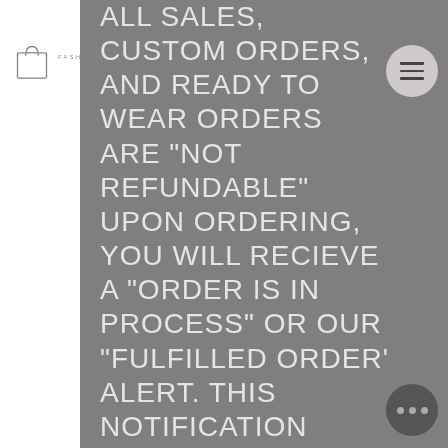FASHIONS FADES, STYLE IS ETERNAL
ALL SALES, CUSTOM ORDERS, AND READY TO WEAR ORDERS ARE "NOT REFUNDABLE"
UPON ORDERING, YOU WILL RECIEVE A "ORDER IS IN PROCESS" OR OUR "FULFILLED ORDER' ALERT. THIS NOTIFICATION MAKES YOU AWARE THAT YOUR ORDER IS IN OUR "CUT/MAKE/AND TRIM" PROCESS AND WILL NOT BE ABLE TO BE CANCELLED FOR ANY REASON.
ONCE YOU'VE PLACE YOUR ORDER WITH COLIN TURNER